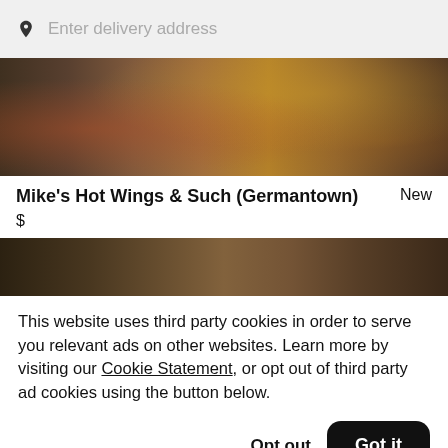Enter delivery address
[Figure (photo): Food photo showing hot wings and other dishes, darkened/dimmed]
Mike's Hot Wings & Such (Germantown)   New
$
[Figure (photo): Second food photo showing assorted dishes, darkened/dimmed]
This website uses third party cookies in order to serve you relevant ads on other websites. Learn more by visiting our Cookie Statement, or opt out of third party ad cookies using the button below.
Opt out
Got it